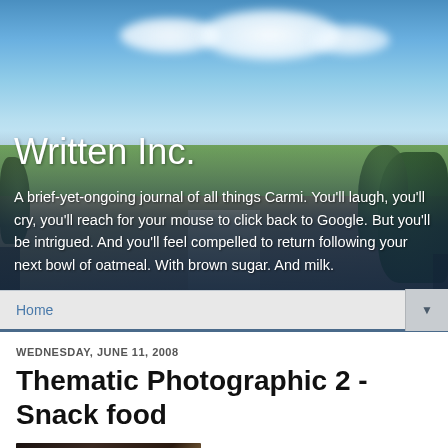[Figure (photo): Header banner photo of a country road with blue sky, white clouds, green trees and fields stretching into the distance]
Written Inc.
A brief-yet-ongoing journal of all things Carmi. You'll laugh, you'll cry, you'll reach for your mouse to click back to Google. But you'll be intrigued. And you'll feel compelled to return following your next bowl of oatmeal. With brown sugar. And milk.
Home
WEDNESDAY, JUNE 11, 2008
Thematic Photographic 2 - Snack food
[Figure (photo): Close-up photo of a snack food item on dark background]
You old softie
Delray Beach, FL